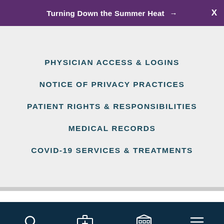Turning Down the Summer Heat →
PHYSICIAN ACCESS & LOGINS
NOTICE OF PRIVACY PRACTICES
PATIENT RIGHTS & RESPONSIBILITIES
MEDICAL RECORDS
COVID-19 SERVICES & TREATMENTS
SEARCH  SERVICES  LOCATIONS  MENU